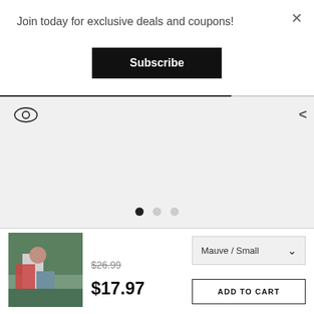Join today for exclusive deals and coupons!
Subscribe
[Figure (screenshot): E-commerce product page with modal overlay showing subscription prompt, product image carousel with dots, and bottom bar with product thumbnail, prices ($26.99 original, $17.97 sale), variant selector (Mauve / Small), and Add to Cart button]
$26.99
$17.97
Mauve / Small
ADD TO CART